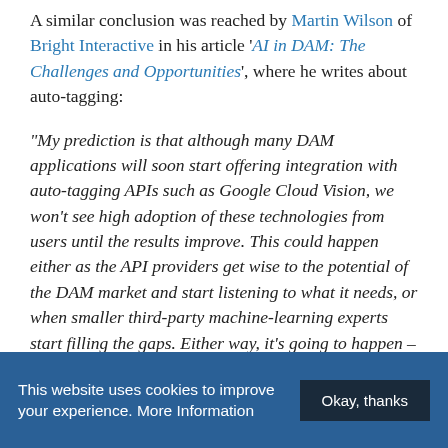A similar conclusion was reached by Martin Wilson of Bright Interactive in his article 'AI in DAM: The Challenges and Opportunities', where he writes about auto-tagging:
“My prediction is that although many DAM applications will soon start offering integration with auto-tagging APIs such as Google Cloud Vision, we won’t see high adoption of these technologies from users until the results improve. This could happen either as the API providers get wise to the potential of the DAM market and start listening to what it needs, or when smaller third-party machine-learning experts start filling the gaps. Either way, it’s going to happen – hopefully
This website uses cookies to improve your experience. More Information